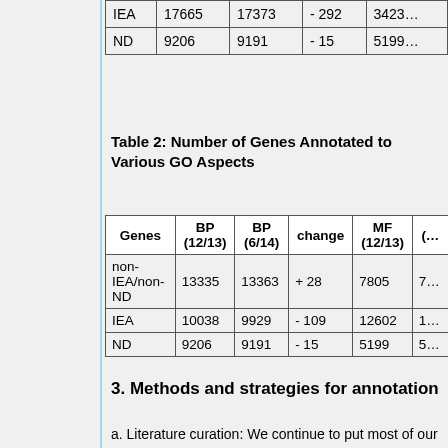|  |  |  | change |  |
| --- | --- | --- | --- | --- |
| IEA | 17665 | 17373 | - 292 | 3423… |
| ND | 9206 | 9191 | - 15 | 5199… |
Table 2: Number of Genes Annotated to Various GO Aspects
| Genes | BP (12/13) | BP (6/14) | change | MF (12/13) | (… |
| --- | --- | --- | --- | --- | --- |
| non-IEA/non-ND | 13335 | 13363 | + 28 | 7805 | 7… |
| IEA | 10038 | 9929 | - 109 | 12602 | 1… |
| ND | 9206 | 9191 | - 15 | 5199 | 5… |
3. Methods and strategies for annotation
a. Literature curation: We continue to put most of our annotation effort (95%) into annotation of gene products from the literature.